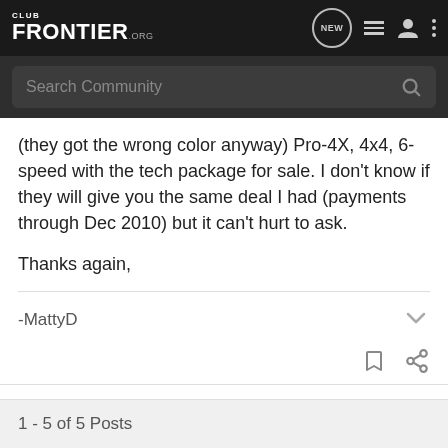CLUB FRONTIER.ORG — NEW
Search Community
(they got the wrong color anyway) Pro-4X, 4x4, 6-speed with the tech package for sale. I don't know if they will give you the same deal I had (payments through Dec 2010) but it can't hurt to ask.

Thanks again,
-MattyD
1 - 5 of 5 Posts